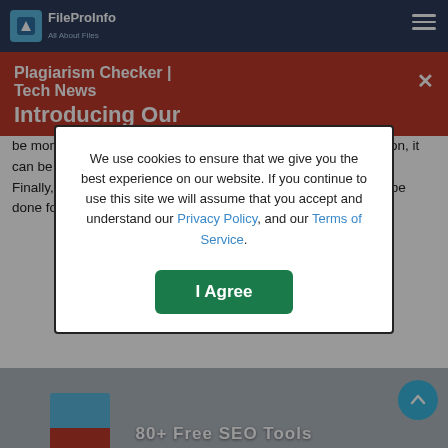FileProInfo – All About Files
Convert odp to pps online & free
There are many benefits to converting a ODP file to PPS. Perhaps the most obvious benefit is that a PPS can be read on any device, as it is not restricted to devices that support the ODP format. Converting a ODP to PPS also makes the text easier to read, as PPS files tend to be more compact. Additionally, if you want to share a presentation, it can be much easier to do so in PPS format than in ODP format. Finally, converting to PPS is a quick and easy process that can be done for free using this free online tool.
[Figure (screenshot): Plagiarism Checker | Tech News red notification banner with X close button and 'Introducing Our' text]
[Figure (screenshot): Cookie consent modal dialog: 'We use cookies to ensure that we give you the best experience on our website. If you continue to use this site we will assume that you accept and understand our Privacy Policy, and our Terms of Service.' with I Agree button]
[Figure (screenshot): Bottom section showing '80+ Free SEO Tools' label area with blue and red bar chart elements]